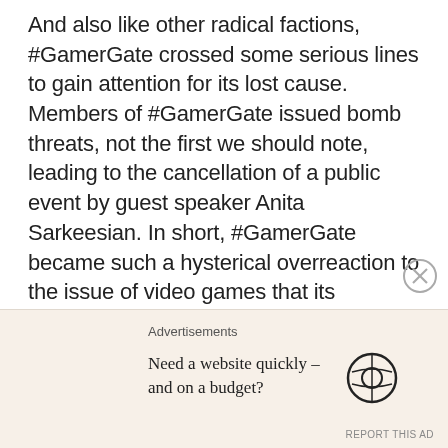And also like other radical factions, #GamerGate crossed some serious lines to gain attention for its lost cause. Members of #GamerGate issued bomb threats, not the first we should note, leading to the cancellation of a public event by guest speaker Anita Sarkeesian. In short, #GamerGate became such a hysterical overreaction to the issue of video games that its members HAVE ACTUALLY TAKEN UP DOMESTIC TERRORISM. In response, the vast majority of the gaming community have come out against #GamerGate, making the #StopGamerGate2014 hashtag trend worldwide.
Advertisements
Need a website quickly – and on a budget?